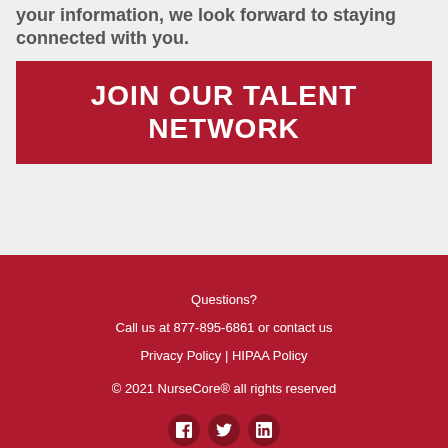your information, we look forward to staying connected with you.
JOIN OUR TALENT NETWORK
Questions?
Call us at 877-895-6861 or contact us
Privacy Policy | HIPAA Policy
© 2021 NurseCore® all rights reserved
[Figure (illustration): Social media icons: Facebook, Twitter, LinkedIn]